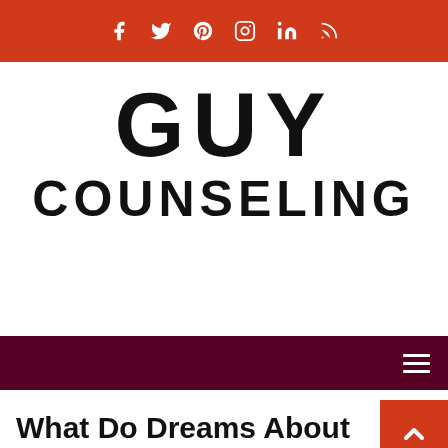Social media icons bar (Facebook, Twitter, Pinterest, Instagram, LinkedIn, RSS)
[Figure (logo): GUY COUNSELING logo in bold black uppercase text on white background]
[Figure (other): Navigation bar with hamburger menu icon on dark maroon background]
What Do Dreams About Tigers Mean?